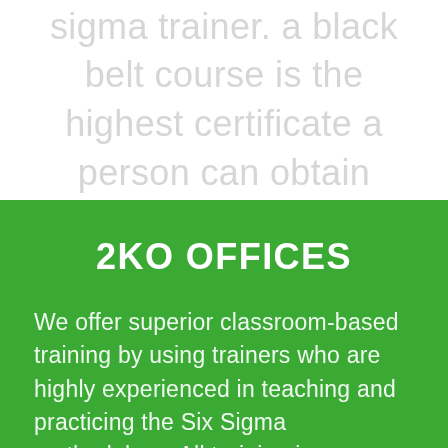only learned when looking to become a six sigma trainer. a black belt course is the highest certificate a person can obtain within the world of six sigma.
2KO OFFICES
We offer superior classroom-based training by using trainers who are highly experienced in teaching and practicing the Six Sigma methadology. All training is provided...